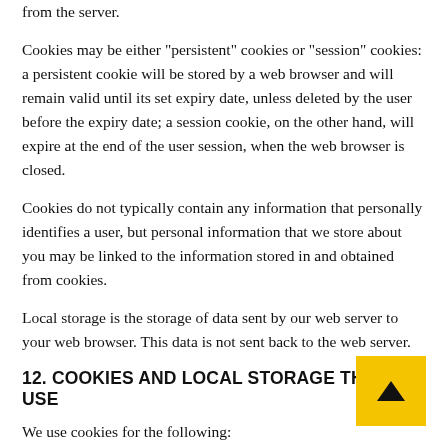from the server.
Cookies may be either "persistent" cookies or "session" cookies: a persistent cookie will be stored by a web browser and will remain valid until its set expiry date, unless deleted by the user before the expiry date; a session cookie, on the other hand, will expire at the end of the user session, when the web browser is closed.
Cookies do not typically contain any information that personally identifies a user, but personal information that we store about you may be linked to the information stored in and obtained from cookies.
Local storage is the storage of data sent by our web server to your web browser. This data is not sent back to the web server.
12. COOKIES AND LOCAL STORAGE THAT WE USE
We use cookies for the following: